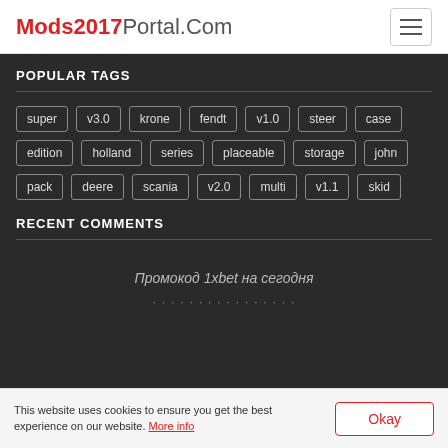Mods2017Portal.Com
POPULAR TAGS
super
v3.0
krone
fendt
v1.0
steer
case
edition
holland
series
placeable
storage
john
pack
deere
scania
v2.0
multi
v1.1
skid
RECENT COMMENTS
Промокод 1xbet на сегодня
This website uses cookies to ensure you get the best experience on our website. More info